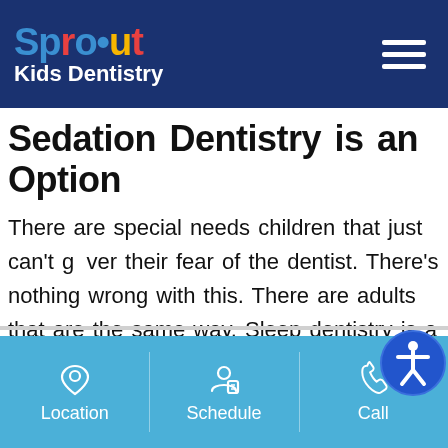Sprout Kids Dentistry
Sedation Dentistry is an Option
There are special needs children that just can't get over their fear of the dentist. There's nothing wrong with this. There are adults that are the same way. Sleep dentistry is a very safe option for getting your child the dental care that they need. The sedation is done very safely in
Location | Schedule | Call